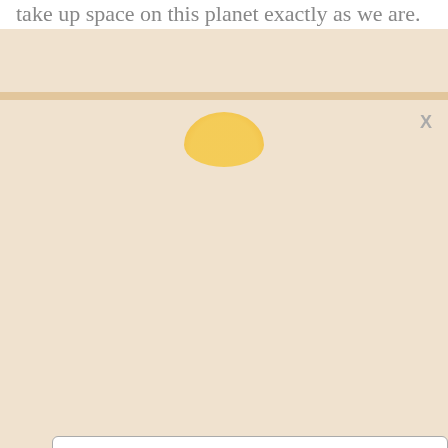take up space on this planet exactly as we are.
[Figure (screenshot): A modal popup overlay on a webpage background. Background shows tan/peach color with a partially visible golden sun circle. The modal has an elephant logo (Elephant Journal), a close X button, title 'Limited Offer: 50% Off Unlimited Reads', dotted divider line, subscription description text, and a countdown timer showing 04:57 in a circle.]
Limited Offer:
50% Off Unlimited Reads
Subscribe to Elephant for access to 60k+ mindful articles, exclusive discounts, and free yoga classes
04:57